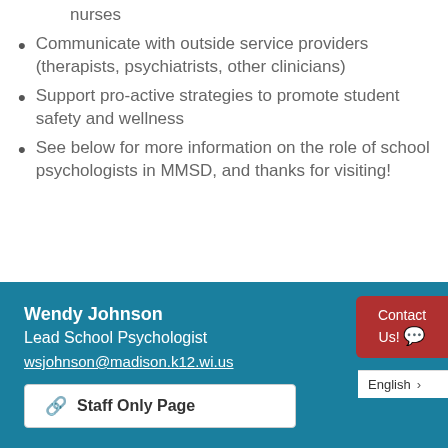nurses
Communicate with outside service providers (therapists, psychiatrists, other clinicians)
Support pro-active strategies to promote student safety and wellness
See below for more information on the role of school psychologists in MMSD, and thanks for visiting!
Wendy Johnson
Lead School Psychologist
wsjohnson@madison.k12.wi.us
Staff Only Page